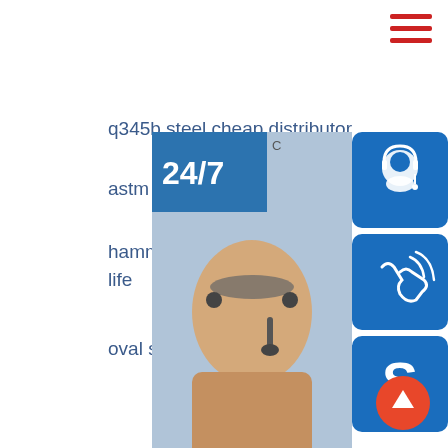[Figure (other): Hamburger menu icon (three red horizontal lines) in top right corner]
q345b steel cheap distributor
astm a53b square galvanized steel
hammer beater blades with outstanding life
oval shaped steel pipe oval steel
[Figure (photo): Customer service widget showing a woman with headset, 24/7 badge, phone icon, Skype icon, and 'online live' button]
Recent Post
[Figure (photo): Thumbnail photo of steel product]
hot saled and best price ss400